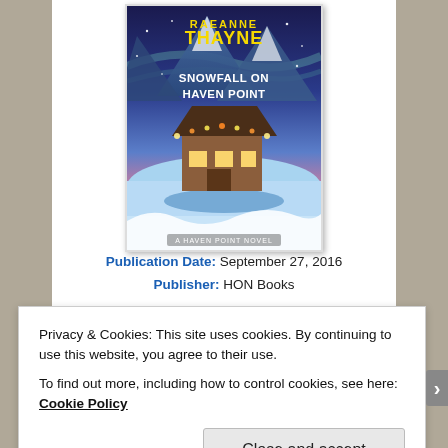[Figure (illustration): Book cover of 'Snowfall on Haven Point' by RaeAnne Thayne. A Haven Point Novel. Shows a cozy lit cabin in a snowy winter scene with mountains in the background under a colorful aurora/sunset sky. Author name in yellow, title in white text.]
Publication Date: September 27, 2016
Publisher: HON Books
Privacy & Cookies: This site uses cookies. By continuing to use this website, you agree to their use.
To find out more, including how to control cookies, see here: Cookie Policy
Close and accept